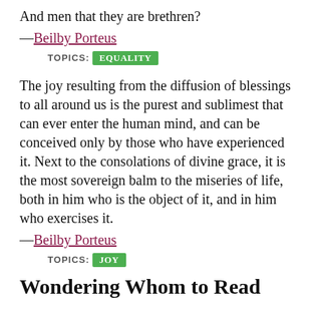And men that they are brethren?
—Beilby Porteus
TOPICS: EQUALITY
The joy resulting from the diffusion of blessings to all around us is the purest and sublimest that can ever enter the human mind, and can be conceived only by those who have experienced it. Next to the consolations of divine grace, it is the most sovereign balm to the miseries of life, both in him who is the object of it, and in him who exercises it.
—Beilby Porteus
TOPICS: JOY
Wondering Whom to Read